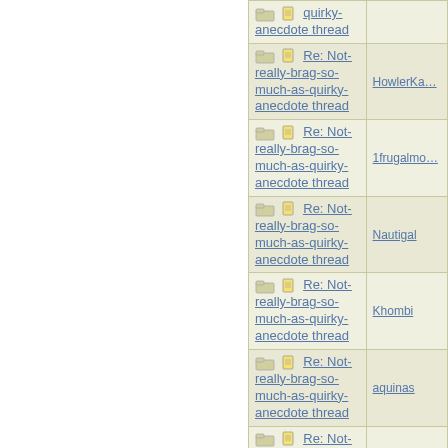| Subject | Author |
| --- | --- |
| Re: Not-really-brag-so-much-as-quirky-anecdote thread | (cut off) |
| Re: Not-really-brag-so-much-as-quirky-anecdote thread | HowlerKa… |
| Re: Not-really-brag-so-much-as-quirky-anecdote thread | 1frugalmo… |
| Re: Not-really-brag-so-much-as-quirky-anecdote thread | Nautigal |
| Re: Not-really-brag-so-much-as-quirky-anecdote thread | Khombi |
| Re: Not-really-brag-so-much-as-quirky-anecdote thread | aquinas |
| Re: Not-really-brag-so-much-as-quirky-anecdote thread | KJP |